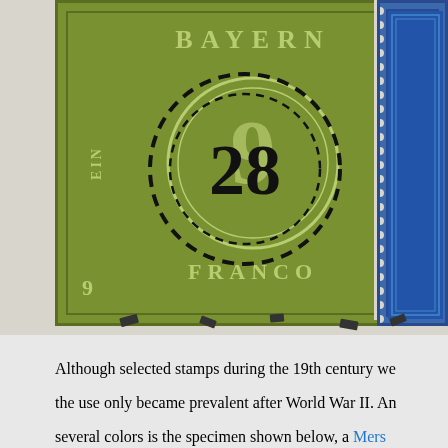[Figure (photo): Close-up photograph of a green Bayern (Bavaria) 9 Kreuzer stamp with a circular black postmark showing the number 28, alongside a partially visible blue stamp on the right edge. The green stamp reads BAYERN at top, 9 KREUZER, and FRANCO at the bottom, with the number 28 postmark in the center.]
Although selected stamps during the 19th century we the use only became prevalent after World War II. An several colors is the specimen shown below, a Mers